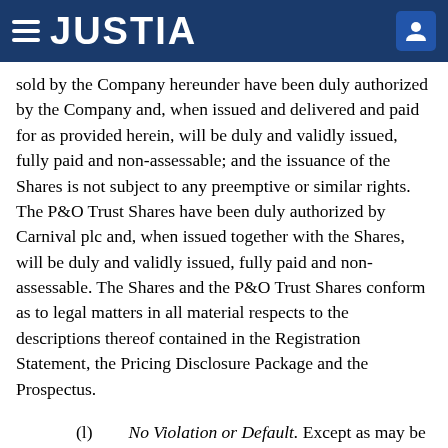JUSTIA
sold by the Company hereunder have been duly authorized by the Company and, when issued and delivered and paid for as provided herein, will be duly and validly issued, fully paid and non-assessable; and the issuance of the Shares is not subject to any preemptive or similar rights. The P&O Trust Shares have been duly authorized by Carnival plc and, when issued together with the Shares, will be duly and validly issued, fully paid and non-assessable. The Shares and the P&O Trust Shares conform as to legal matters in all material respects to the descriptions thereof contained in the Registration Statement, the Pricing Disclosure Package and the Prospectus.
(l)   No Violation or Default. Except as may be described in the Registration Statement, the Pricing Disclosure Package and the Prospectus, none of the